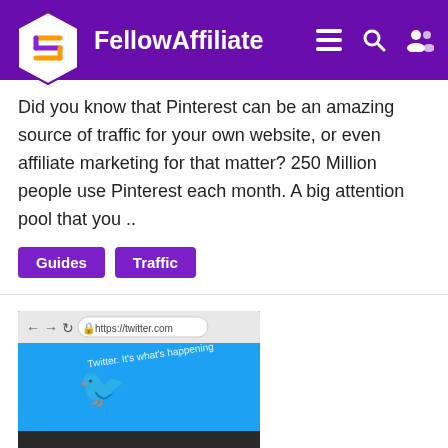FellowAffiliate
Did you know that Pinterest can be an amazing source of traffic for your own website, or even affiliate marketing for that matter? 250 Million people use Pinterest each month. A big attention pool that you ..
Guides
Traffic
[Figure (screenshot): Screenshot of Twitter website open in a browser on a mobile device, showing the Twitter logo and address bar with https://twitter.com]
Generate Free Traffic With Twitter Account